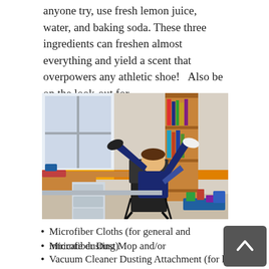anyone try, use fresh lemon juice, water, and baking soda. These three ingredients can freshen almost everything and yield a scent that overpowers any athletic shoe!   Also be on the look-out for…
[Figure (photo): A child leaning back in a black folding chair with feet up on a desk in a bedroom. The room has a bookshelf, clear plastic drawer units, toys on the floor, and a decorative border on the walls.]
Microfiber Cloths (for general and intricate dusting)
Microfiber Dust Mop and/or
Vacuum Cleaner Dusting Attachment (for high